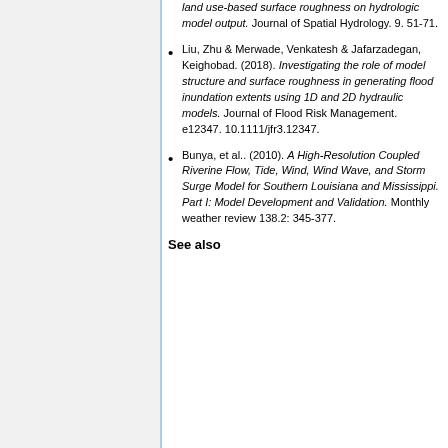land use-based surface roughness on hydrologic model output. Journal of Spatial Hydrology. 9. 51-71.
Liu, Zhu & Merwade, Venkatesh & Jafarzadegan, Keighobad. (2018). Investigating the role of model structure and surface roughness in generating flood inundation extents using 1D and 2D hydraulic models. Journal of Flood Risk Management. e12347. 10.1111/jfr3.12347.
Bunya, et al.. (2010). A High-Resolution Coupled Riverine Flow, Tide, Wind, Wind Wave, and Storm Surge Model for Southern Louisiana and Mississippi. Part I: Model Development and Validation. Monthly weather review 138.2: 345-377.
See also